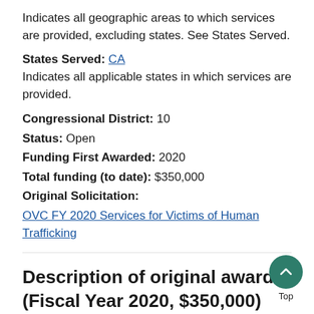Indicates all geographic areas to which services are provided, excluding states. See States Served.
States Served: CA
Indicates all applicable states in which services are provided.
Congressional District: 10
Status: Open
Funding First Awarded: 2020
Total funding (to date): $350,000
Original Solicitation:
OVC FY 2020 Services for Victims of Human Trafficking
Description of original award (Fiscal Year 2020, $350,000)
The goal of the FY 2020 Services for Victims of H...